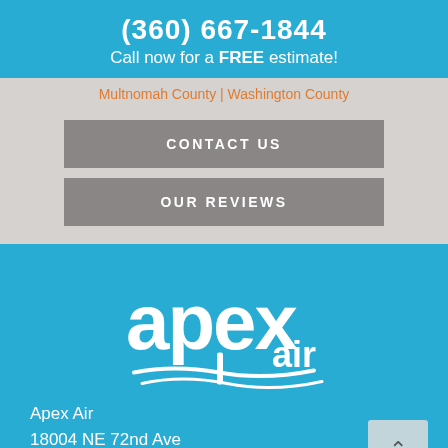(360) 667-1844
Call now for a FREE estimate!
Multnomah County | Washington County
CONTACT US
OUR REVIEWS
[Figure (logo): Apex Air company logo in white on blue background, featuring stylized text 'apex air' with wave/swoosh design elements]
Apex Air
18004 NE 72nd Ave
Vancouver, WA 98686